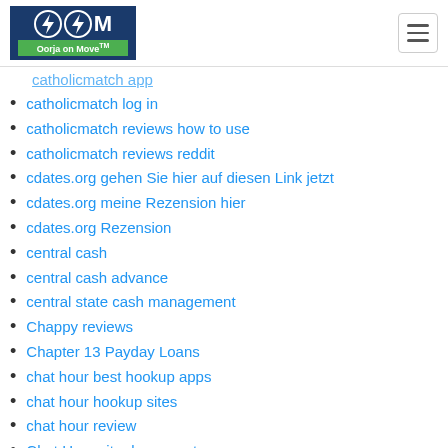Oorja on Move
catholicmatch app
catholicmatch log in
catholicmatch reviews how to use
catholicmatch reviews reddit
cdates.org gehen Sie hier auf diesen Link jetzt
cdates.org meine Rezension hier
cdates.org Rezension
central cash
central cash advance
central state cash management
Chappy reviews
Chapter 13 Payday Loans
chat hour best hookup apps
chat hour hookup sites
chat hour review
Chat Hour site de rencontre